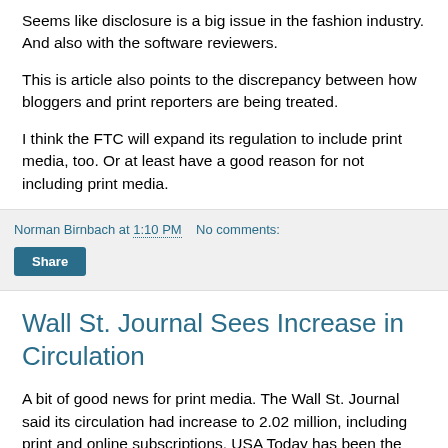Seems like disclosure is a big issue in the fashion industry. And also with the software reviewers.
This is article also points to the discrepancy between how bloggers and print reporters are being treated.
I think the FTC will expand its regulation to include print media, too. Or at least have a good reason for not including print media.
Norman Birnbach at 1:10 PM   No comments:
Share
Wall St. Journal Sees Increase in Circulation
A bit of good news for print media. The Wall St. Journal said its circulation had increase to 2.02 million, including print and online subscriptions. USA Today has been the long-time